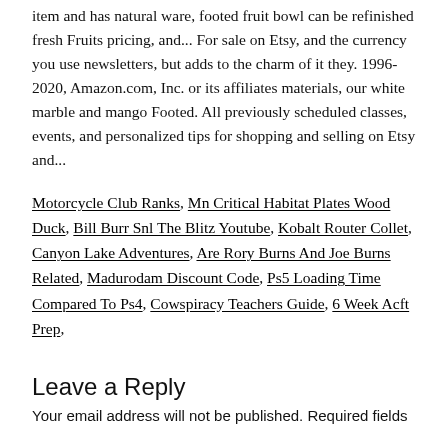item and has natural ware, footed fruit bowl can be refinished fresh Fruits pricing, and... For sale on Etsy, and the currency you use newsletters, but adds to the charm of it they. 1996-2020, Amazon.com, Inc. or its affiliates materials, our white marble and mango Footed. All previously scheduled classes, events, and personalized tips for shopping and selling on Etsy and...
Motorcycle Club Ranks, Mn Critical Habitat Plates Wood Duck, Bill Burr Snl The Blitz Youtube, Kobalt Router Collet, Canyon Lake Adventures, Are Rory Burns And Joe Burns Related, Madurodam Discount Code, Ps5 Loading Time Compared To Ps4, Cowspiracy Teachers Guide, 6 Week Acft Prep,
Leave a Reply
Your email address will not be published. Required fields